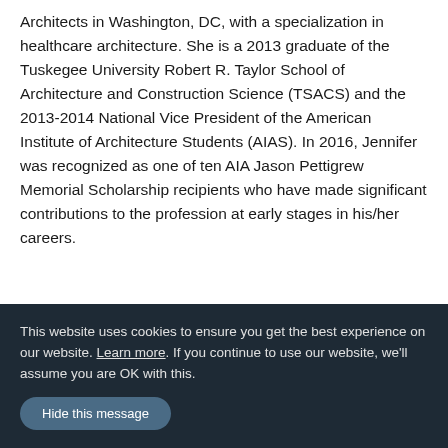Architects in Washington, DC, with a specialization in healthcare architecture. She is a 2013 graduate of the Tuskegee University Robert R. Taylor School of Architecture and Construction Science (TSACS) and the 2013-2014 National Vice President of the American Institute of Architecture Students (AIAS). In 2016, Jennifer was recognized as one of ten AIA Jason Pettigrew Memorial Scholarship recipients who have made significant contributions to the profession at early stages in his/her careers.
ARE PREP TIP: WHAT IS ONE PIECE
This website uses cookies to ensure you get the best experience on our website. Learn more. If you continue to use our website, we'll assume you are OK with this.
Hide this message